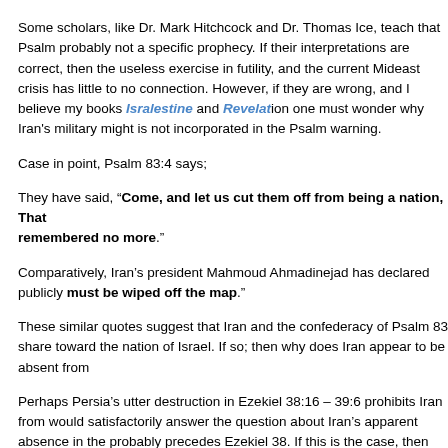Some scholars, like Dr. Mark Hitchcock and Dr. Thomas Ice, teach that Psalm 83 is probably not a specific prophecy. If their interpretations are correct, then the useless exercise in futility, and the current Mideast crisis has little to no conn... However, if they are wrong, and I believe my books Isralestine and Revelat... one must wonder why Iran's military might is not incorporated in the Psalm w...
Case in point, Psalm 83:4 says;
They have said, “Come, and let us cut them off from being a nation, That... remembered no more.”
Comparatively, Iran’s president Mahmoud Ahmadinejad has declared publicl... must be wiped off the map.”
These similar quotes suggest that Iran and the confederacy of Psalm 83 sha... toward the nation of Israel. If so; then why does Iran appear to be absent fro...
Perhaps Persia’s utter destruction in Ezekiel 38:16 – 39:6 prohibits Iran from... would satisfactorily answer the question about Iran’s apparent absence in th... probably precedes Ezekiel 38. If this is the case, then Iran’s “shield and hel... come against Israel. If so; then why don’t the Arabs invite mighty Iran to part...